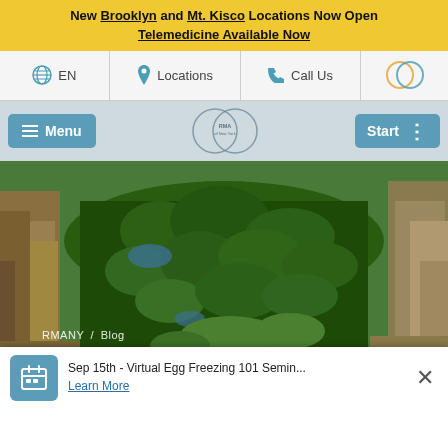New Brooklyn and Mt. Kisco Locations Now Open
Telemedicine Available Now
EN  Locations  Call Us
Menu  [RMA of New York logo]  Start
[Figure (photo): Aerial photograph of Central Park, New York City, showing the green park surrounded by dense urban buildings on both sides.]
RMANY / Blog
Blog
Sep 15th - Virtual Egg Freezing 101 Semin... Learn More